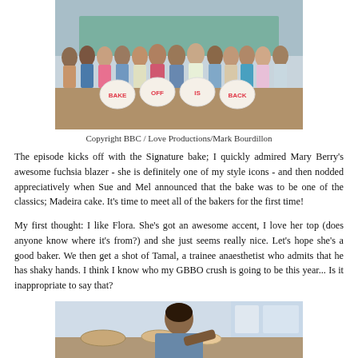[Figure (photo): Group photo of GBBO cast and contestants holding round cakes that spell out BAKE OFF IS BACK]
Copyright BBC / Love Productions/Mark Bourdillon
The episode kicks off with the Signature bake; I quickly admired Mary Berry's awesome fuchsia blazer - she is definitely one of my style icons - and then nodded appreciatively when Sue and Mel announced that the bake was to be one of the classics; Madeira cake. It's time to meet all of the bakers for the first time!
My first thought: I like Flora. She's got an awesome accent, I love her top (does anyone know where it's from?) and she just seems really nice. Let's hope she's a good baker. We then get a shot of Tamal, a trainee anaesthetist who admits that he has shaky hands. I think I know who my GBBO crush is going to be this year... Is it inappropriate to say that?
[Figure (photo): Photo of a man (Tamal) baking, leaning over in a kitchen setting]